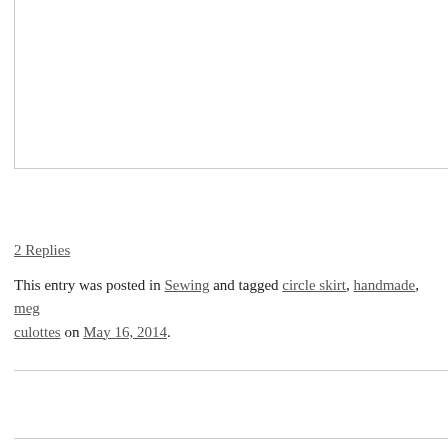2 Replies
This entry was posted in Sewing and tagged circle skirt, handmade, meg culottes on May 16, 2014.